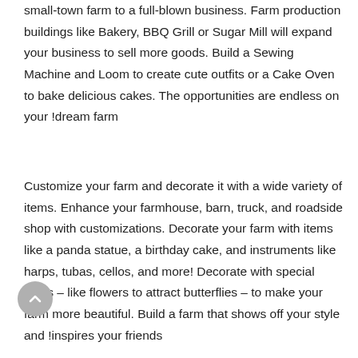small-town farm to a full-blown business. Farm production buildings like Bakery, BBQ Grill or Sugar Mill will expand your business to sell more goods. Build a Sewing Machine and Loom to create cute outfits or a Cake Oven to bake delicious cakes. The opportunities are endless on your !dream farm
Customize your farm and decorate it with a wide variety of items. Enhance your farmhouse, barn, truck, and roadside shop with customizations. Decorate your farm with items like a panda statue, a birthday cake, and instruments like harps, tubas, cellos, and more! Decorate with special items – like flowers to attract butterflies – to make your farm more beautiful. Build a farm that shows off your style and !inspires your friends